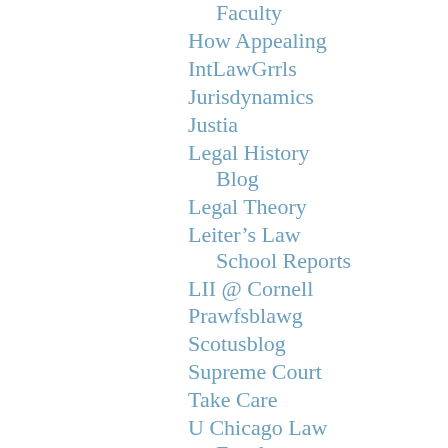Faculty
How Appealing
IntLawGrrls
Jurisdynamics
Justia
Legal History Blog
Legal Theory
Leiter's Law School Reports
LII @ Cornell
Prawfsblawg
Scotusblog
Supreme Court
Take Care
U Chicago Law Faculty
Verdict
Volokh